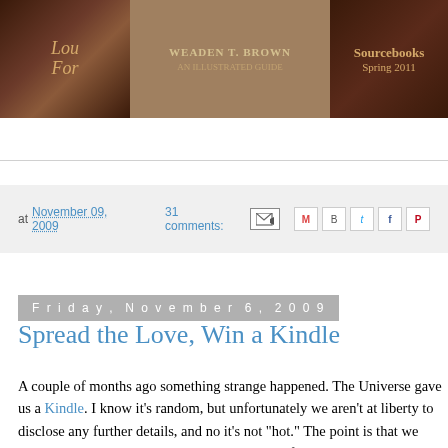[Figure (photo): Book cover image for a Sourcebooks Spring 2011 title, with decorative dark brown/maroon background and ornate styling. Text visible includes 'Lou', 'For', 'Sourcebooks', 'Spring 2011'.]
at November 09, 2009  31 comments:
Friday, November 6, 2009
Spread the Love, Win a Kindle
A couple of months ago something strange happened. The Universe gave us a Kindle. I know it's random, but unfortunately we aren't at liberty to disclose any further details, and no it's not "hot." The point is that we have in our possession a shiny new Kindle still safely ensconced in its clever little package.
We thought about selling it on Ebay to pay for our Prosecco and Twizzler habit, but that would be really bad karma. The